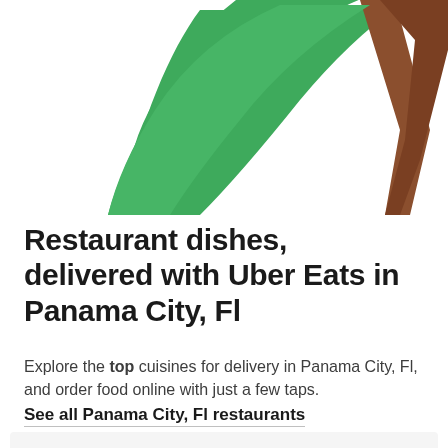[Figure (illustration): Partial illustration showing a green triangular/leaf shape and a brown triangular shape partially cropped at the top of the page, suggesting a food delivery or nature illustration for Uber Eats branding.]
Restaurant dishes, delivered with Uber Eats in Panama City, Fl
Explore the top cuisines for delivery in Panama City, Fl, and order food online with just a few taps.
See all Panama City, Fl restaurants